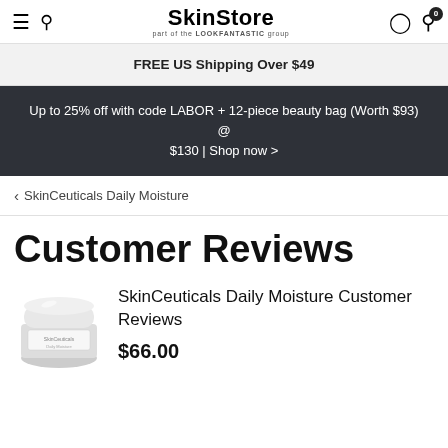SkinStore — part of the LOOKFANTASTIC group
FREE US Shipping Over $49
Up to 25% off with code LABOR + 12-piece beauty bag (Worth $93) @ $130 | Shop now >
< SkinCeuticals Daily Moisture
Customer Reviews
SkinCeuticals Daily Moisture Customer Reviews
$66.00